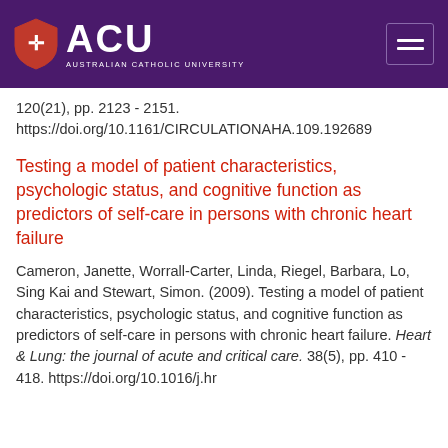[Figure (logo): Australian Catholic University (ACU) header with purple background, ACU shield logo, ACU text, and hamburger menu icon]
120(21), pp. 2123 - 2151. https://doi.org/10.1161/CIRCULATIONAHA.109.192689
Testing a model of patient characteristics, psychologic status, and cognitive function as predictors of self-care in persons with chronic heart failure
Cameron, Janette, Worrall-Carter, Linda, Riegel, Barbara, Lo, Sing Kai and Stewart, Simon. (2009). Testing a model of patient characteristics, psychologic status, and cognitive function as predictors of self-care in persons with chronic heart failure. Heart & Lung: the journal of acute and critical care. 38(5), pp. 410 - 418. https://doi.org/10.1016/j.hr